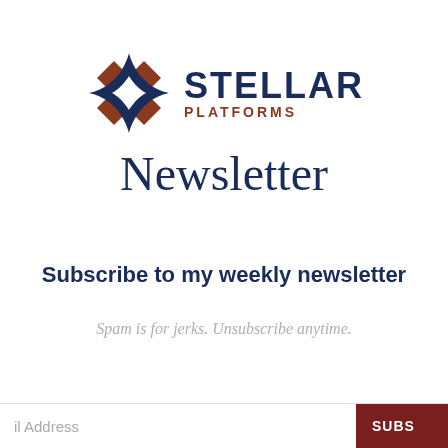[Figure (logo): Stellar Platforms logo: a dark blue and brown four-pointed star/diamond shape with square accents, beside the text 'STELLAR PLATFORMS' in navy and brown, and the word 'Newsletter' in a serif font below.]
Subscribe to my weekly newsletter
Spam is for jerks. Unsubscribe anytime.
il Address   SUBS